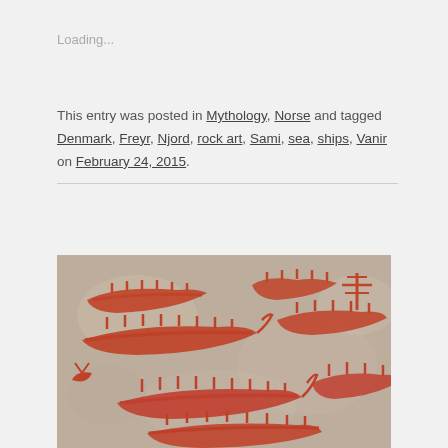Loading...
This entry was posted in Mythology, Norse and tagged Denmark, Freyr, Njord, rock art, Sami, sea, ships, Vanir on February 24, 2015.
[Figure (photo): Photograph of red-painted Norse/Scandinavian rock art (petroglyphs) showing multiple Viking ship carvings on a granite stone surface. The carvings are painted in red-orange and show elongated boat shapes with crew figures and decorative elements.]